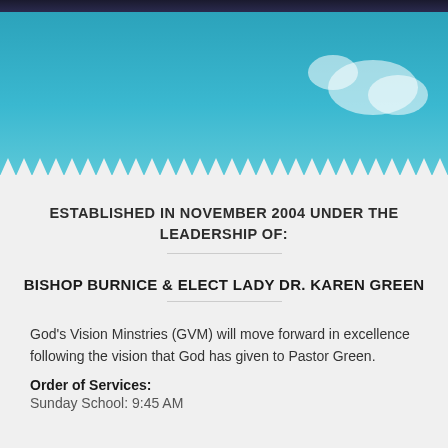[Figure (photo): Top banner image showing a teal/blue sky background with figures at the top and a zigzag bottom border]
ESTABLISHED IN NOVEMBER 2004 UNDER THE LEADERSHIP OF:
BISHOP BURNICE & ELECT LADY DR. KAREN GREEN
God's Vision Minstries (GVM) will move forward in excellence following the vision that God has given to Pastor Green.
Order of Services:
Sunday School: 9:45 AM